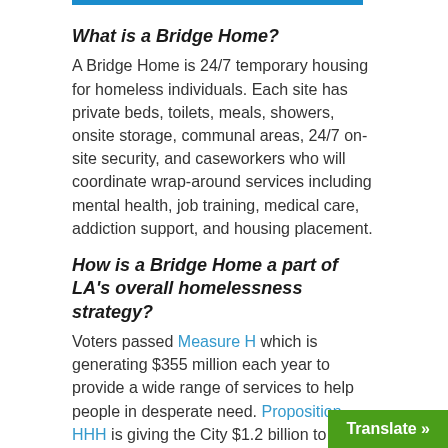What is a Bridge Home?
A Bridge Home is 24/7 temporary housing for homeless individuals. Each site has private beds, toilets, meals, showers, onsite storage, communal areas, 24/7 on-site security, and caseworkers who will coordinate wrap-around services including mental health, job training, medical care, addiction support, and housing placement.
How is a Bridge Home a part of LA’s overall homelessness strategy?
Voters passed Measure H which is generating $355 million each year to provide a wide range of services to help people in desperate need. Proposition HHH is giving the City $1.2 billion to build thousands of units of supportive housing over the next decade — units that will be paired with services, so tha…